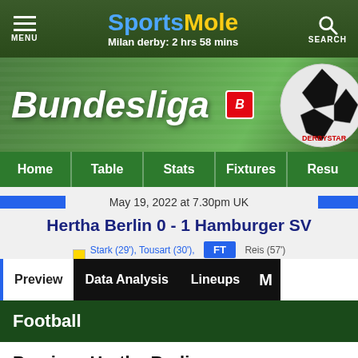SportsMole — Milan derby: 2 hrs 58 mins
[Figure (illustration): Bundesliga banner with soccer ball and Derbystar branding on green grass background]
Home | Table | Stats | Fixtures | Results
May 19, 2022 at 7.30pm UK
Hertha Berlin 0 - 1 Hamburger SV
Stark (29'), Tousart (30'), Boyata (49') | FT (HT: 0-0) | Reis (57')
Preview | Data Analysis | Lineups | More
Football
Preview: Hertha Berlin vs. Hamburger SV - prediction, team news, lineups